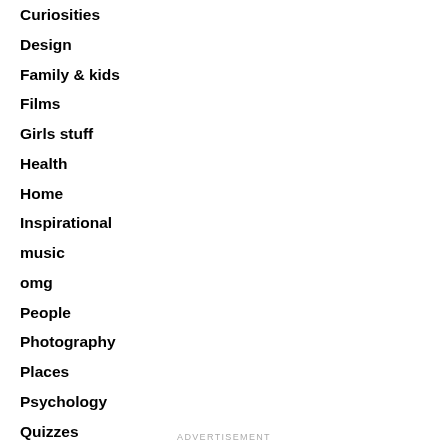Curiosities
Design
Family & kids
Films
Girls stuff
Health
Home
Inspirational
music
omg
People
Photography
Places
Psychology
Quizzes
Relationships
Tips & tricks
ADVERTISEMENT